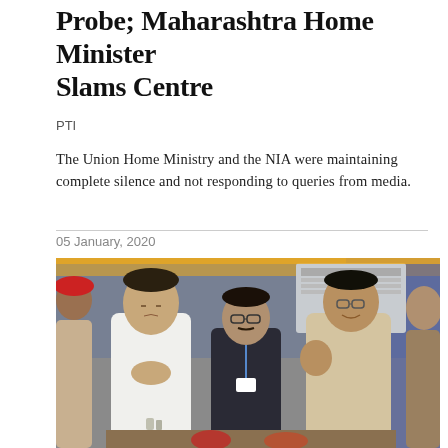Probe; Maharashtra Home Minister Slams Centre
PTI
The Union Home Ministry and the NIA were maintaining complete silence and not responding to queries from media.
05 January, 2020
[Figure (photo): Photo of two men in Indian traditional attire at a public event. The man on the left in white kurta is joining his hands in a namaste gesture, and the man on the right in beige kurta is waving. A third man in dark clothing stands between them in the background. There are floral decorations in the background.]